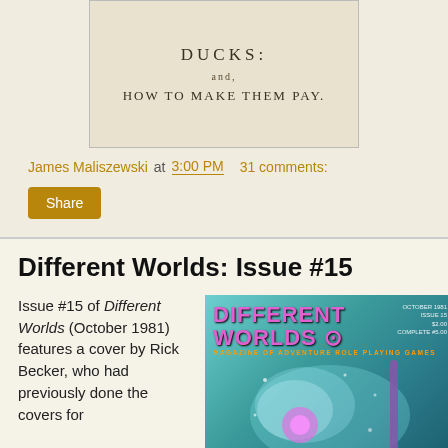[Figure (photo): Photo of an old book with title 'DUCKS: and, HOW TO MAKE THEM PAY.' printed on its cover/spine]
James Maliszewski at 3:00 PM    31 comments:
Share
Different Worlds: Issue #15
Issue #15 of Different Worlds (October 1981) features a cover by Rick Becker, who had previously done the covers for
[Figure (photo): Cover of Different Worlds magazine Issue #15, showing science fiction/fantasy art with purple and teal colors. Text reads 'DIFFERENT WORLDS - MAGAZINE OF ADVENTURE ROLE PLAYING GAMES']